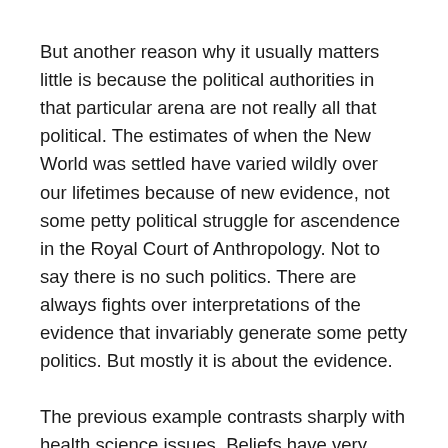But another reason why it usually matters little is because the political authorities in that particular arena are not really all that political. The estimates of when the New World was settled have varied wildly over our lifetimes because of new evidence, not some petty political struggle for ascendence in the Royal Court of Anthropology. Not to say there is no such politics. There are always fights over interpretations of the evidence that invariably generate some petty politics. But mostly it is about the evidence.
The previous example contrasts sharply with health science issues. Beliefs have very practical implications. But also — and to a large extent because of that — beliefs are determined largely by petty politics: bribery, profits, turf wars, fame-seeking, etc. The scientific factoids most people believe are determined not by science, but by royal